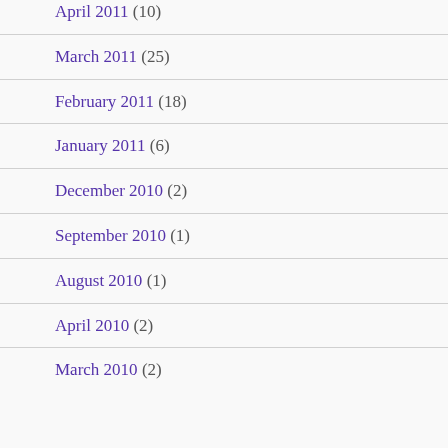April 2011 (10)
March 2011 (25)
February 2011 (18)
January 2011 (6)
December 2010 (2)
September 2010 (1)
August 2010 (1)
April 2010 (2)
March 2010 (2)